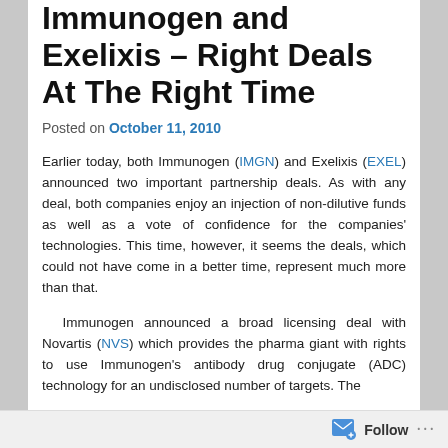Immunogen and Exelixis – Right Deals At The Right Time
Posted on October 11, 2010
Earlier today, both Immunogen (IMGN) and Exelixis (EXEL) announced two important partnership deals. As with any deal, both companies enjoy an injection of non-dilutive funds as well as a vote of confidence for the companies' technologies. This time, however, it seems the deals, which could not have come in a better time, represent much more than that.
Immunogen announced a broad licensing deal with Novartis (NVS) which provides the pharma giant with rights to use Immunogen's antibody drug conjugate (ADC) technology for an undisclosed number of targets. The